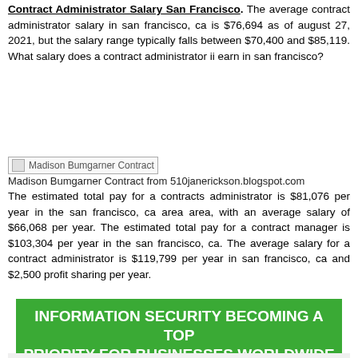Contract Administrator Salary San Francisco. The average contract administrator salary in san francisco, ca is $76,694 as of august 27, 2021, but the salary range typically falls between $70,400 and $85,119. What salary does a contract administrator ii earn in san francisco?
[Figure (photo): Broken image placeholder labeled 'Madison Bumgarner Contract']
Madison Bumgarner Contract from 510janerickson.blogspot.com
The estimated total pay for a contracts administrator is $81,076 per year in the san francisco, ca area area, with an average salary of $66,068 per year. The estimated total pay for a contract manager is $103,304 per year in the san francisco, ca. The average salary for a contract administrator is $119,799 per year in san francisco, ca and $2,500 profit sharing per year.
[Figure (infographic): Green banner reading INFORMATION SECURITY BECOMING A TOP PRIORITY FOR BUSINESSES WORLDWIDE with partial chart below]